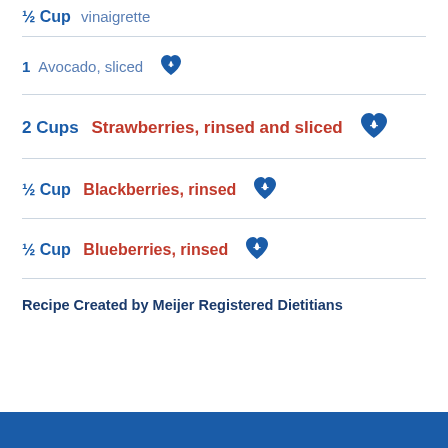½ Cup vinaigrette
1 Avocado, sliced
2 Cups Strawberries, rinsed and sliced
½ Cup Blackberries, rinsed
½ Cup Blueberries, rinsed
Recipe Created by Meijer Registered Dietitians